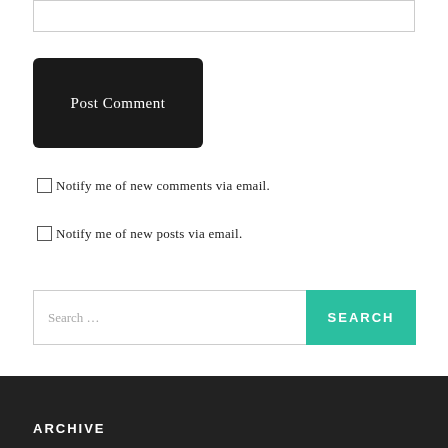Post Comment
Notify me of new comments via email.
Notify me of new posts via email.
Search ...
SEARCH
ARCHIVE